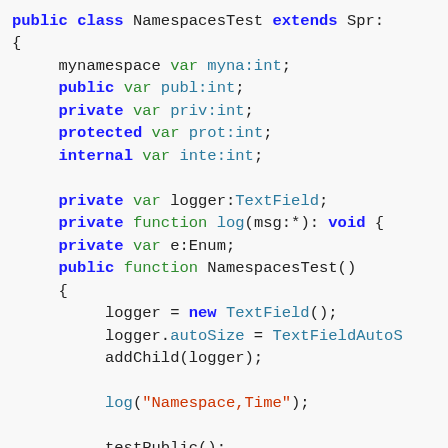public class NamespacesTest extends Spr:
{
    mynamespace var myna:int;
    public var publ:int;
    private var priv:int;
    protected var prot:int;
    internal var inte:int;

    private var logger:TextField;
    private function log(msg:*): void {
    private var e:Enum;
    public function NamespacesTest()
    {
        logger = new TextField();
        logger.autoSize = TextFieldAutoS
        addChild(logger);

        log("Namespace,Time");

        testPublic();
        testPrivate();
        testProtected();
    }